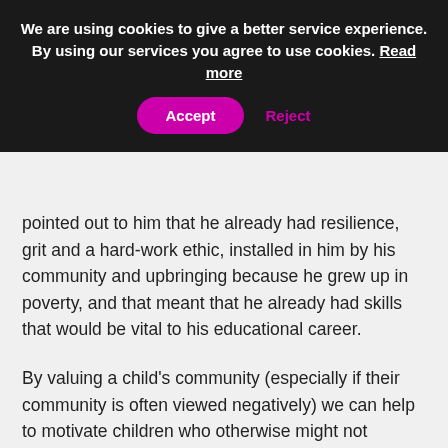We are using cookies to give a better service experience. By using our services you agree to use cookies. Read more
Accept   Reject
pointed out to him that he already had resilience, grit and a hard-work ethic, installed in him by his community and upbringing because he grew up in poverty, and that meant that he already had skills that would be vital to his educational career.
By valuing a child's community (especially if their community is often viewed negatively) we can help to motivate children who otherwise might not continue in education. It is important to include these communities in education and show demotivated students that they are valued and important just as they are.